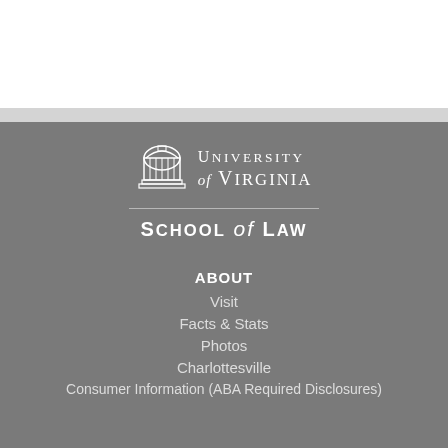[Figure (logo): University of Virginia School of Law logo — rotunda icon with text 'University of Virginia' and 'School of Law']
ABOUT
Visit
Facts & Stats
Photos
Charlottesville
Consumer Information (ABA Required Disclosures)